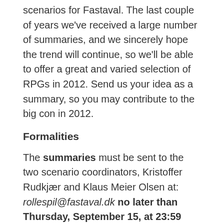scenarios for Fastaval. The last couple of years we've received a large number of summaries, and we sincerely hope the trend will continue, so we'll be able to offer a great and varied selection of RPGs in 2012. Send us your idea as a summary, so you may contribute to the big con in 2012.
Formalities
The summaries must be sent to the two scenario coordinators, Kristoffer Rudkjær and Klaus Meier Olsen at: rollespil@fastaval.dk no later than Thursday, September 15, at 23:59 (GMT+1).
The finished scenarios must be sent to Kristoffer and Klaus no later than February 15, 2012.
Please note: Some of the requirements have changed